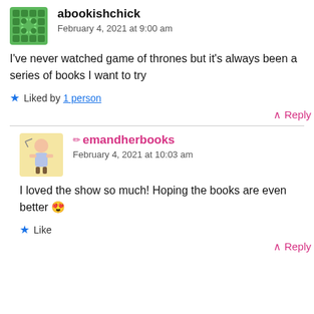[Figure (illustration): Green decorative avatar icon for user abookishchick]
abookishchick
February 4, 2021 at 9:00 am
I've never watched game of thrones but it's always been a series of books I want to try
★ Liked by 1 person
∧ Reply
[Figure (illustration): Yellow avatar with illustrated character for user emandherbooks]
✏ emandherbooks
February 4, 2021 at 10:03 am
I loved the show so much! Hoping the books are even better 😍
★ Like
∧ Reply